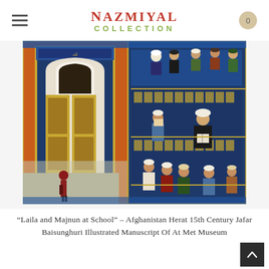Nazmiyal Collection
[Figure (illustration): Persian/Afghan manuscript painting: 'Laila and Majnun at School' — 15th century Herat illuminated manuscript. Left half shows an ornate arched doorway in gold and blue tile work with an orange/terracotta courtyard wall and a small figure in red entering. Right half shows a multi-tiered school scene with scholars and students in colorful robes reading manuscripts on decorated bookshelves against a deep blue arabesque background.]
“Laila and Majnun at School” – Afghanistan Herat 15th Century Jafar Baisunghuri Illustrated Manuscript Of At Met Museum